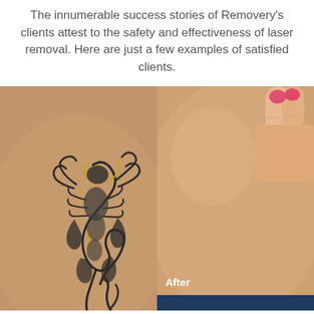The innumerable success stories of Removery's clients attest to the safety and effectiveness of laser removal. Here are just a few examples of satisfied clients.
[Figure (photo): Before and after comparison of laser tattoo removal. Left side shows a dark scorpion/tribal tattoo on skin. Right side shows the same area with clear, tattoo-free skin, with a hand visible in the upper right corner and an 'After' label at the bottom left of the right panel.]